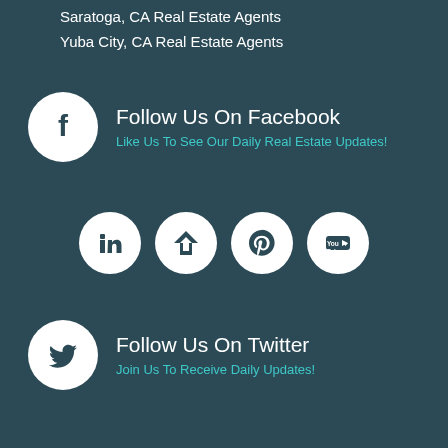Saratoga, CA Real Estate Agents
Yuba City, CA Real Estate Agents
[Figure (logo): Facebook logo icon in white circle on dark teal background, with Follow Us On Facebook heading and teal subtext]
[Figure (logo): Row of four social media icons: LinkedIn, Trulia/similar, Pinterest, YouTube — all white on dark teal circles]
[Figure (logo): Twitter bird logo icon in white circle on dark teal background, with Follow Us On Twitter heading and teal subtext]